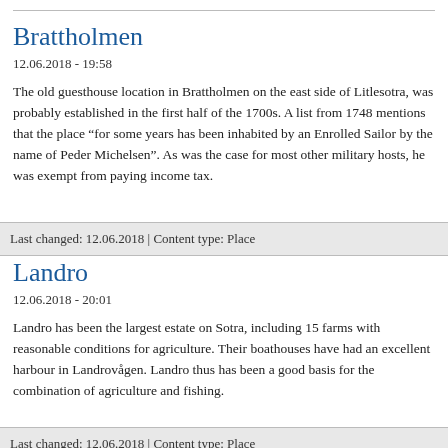Brattholmen
12.06.2018 - 19:58
The old guesthouse location in Brattholmen on the east side of Litlesotra, was probably established in the first half of the 1700s. A list from 1748 mentions that the place “for some years has been inhabited by an Enrolled Sailor by the name of Peder Michelsen”. As was the case for most other military hosts, he was exempt from paying income tax.
Last changed: 12.06.2018 | Content type: Place
Landro
12.06.2018 - 20:01
Landro has been the largest estate on Sotra, including 15 farms with reasonable conditions for agriculture. Their boathouses have had an excellent harbour in Landrovågen. Landro thus has been a good basis for the combination of agriculture and fishing.
Last changed: 12.06.2018 | Content type: Place